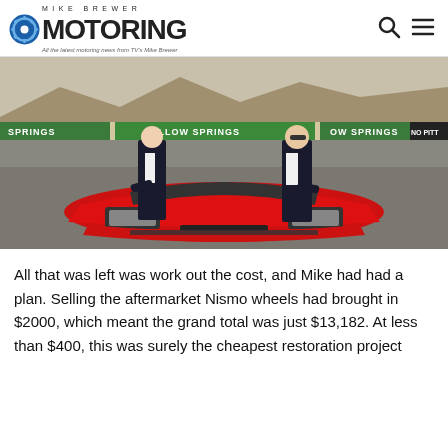MIKE BREWER MOTORING — All the latest motoring news from TV's Mike Brewer
[Figure (photo): Two men in suits and sunglasses standing beside a red sports car (Nissan 300ZX) at Willow Springs racing circuit, viewed from the front of the car. Banners reading 'WILLOW SPRINGS' visible in background.]
All that was left was work out the cost, and Mike had had a plan. Selling the aftermarket Nismo wheels had brought in $2000, which meant the grand total was just $13,182. At less than $400, this was surely the cheapest restoration project